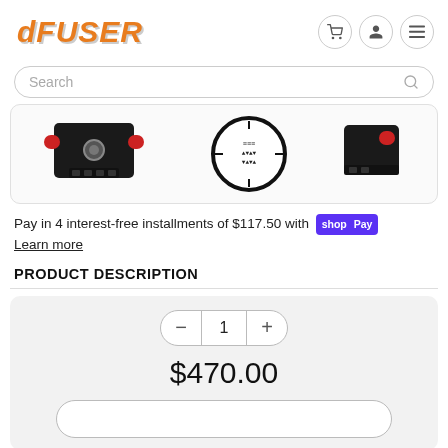[Figure (logo): dFUSER logo in orange italic bold text with shadow]
Search
[Figure (photo): Three product images: electronic components with red connectors and a circular dial/gauge label]
Pay in 4 interest-free installments of $117.50 with Shop Pay
Learn more
PRODUCT DESCRIPTION
1
$470.00